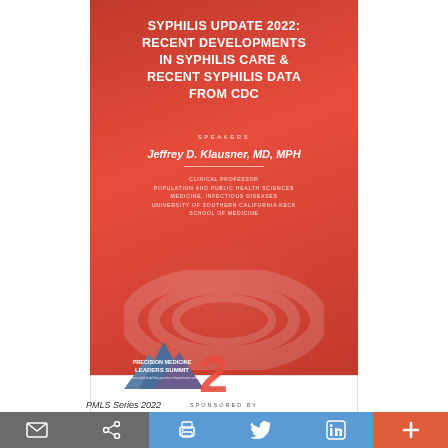SYPHILIS UPDATE 2022: RECENT DEVELOPMENTS IN SYPHILIS CARE & RECENT SYPHILIS DATA FROM CDC
SPEAKERS
Jeffrey D. Klausner, MD, MPH
CLINICAL PROFESSOR
POPULATION AND PUBLIC HEALTH SCIENCES
MEDICINE, INFECTIOUS DISEASES
UNIVERSITY OF SOUTHERN CALIFORNIA KECK SCHOOL OF MEDICINE
SPONSORED BY
[Figure (logo): Diagnostics Direct and Syphilis Health Check sponsor logos]
[Figure (logo): Precision Medicine Leaders Summit logo with red number 2]
PMLS Series 2022